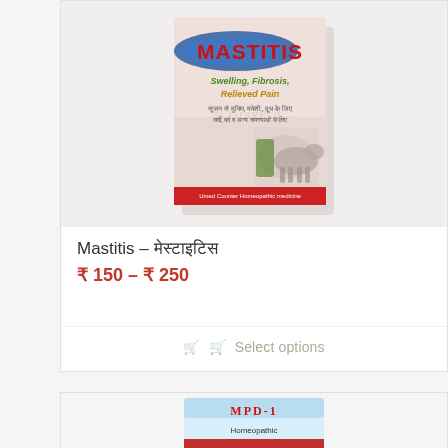[Figure (photo): Product photograph of Mastitis homoeopathic medicine box. Pink/white box with 'MASTITIS' text in large letters, subtitle text 'Swelling, Fibrosis, Relieved Pain' in green/gold, Hindi/regional language text below, and an image of a cow and plants on the box. Red band at bottom with manufacturer text. Watermark overlay on image.]
Mastitis – मेस्टाइटिस
₹ 150 – ₹ 250
Select options
[Figure (photo): Partial product photo of a second item, partially visible at the bottom of the page. Light blue/white packaging, partially cropped.]